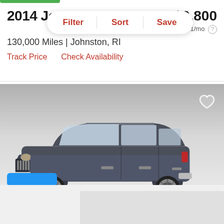2014 Jeep C
$9,800
est. $141/mo
130,000 Miles | Johnston, RI
Track Price   Check Availability
[Figure (photo): Dark gray 2014 Jeep Cherokee SUV photographed from front three-quarter view against a gradient gray background]